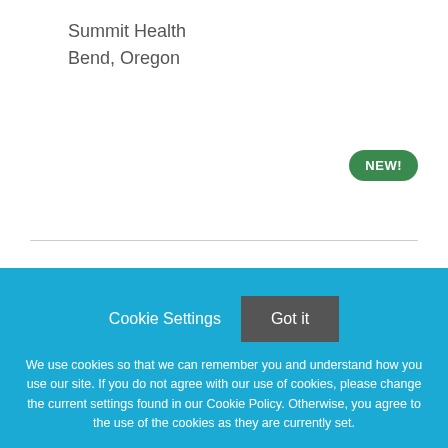Summit Health
Bend, Oregon
[Figure (other): NEW! badge — green rounded pill button with white bold text]
[Figure (logo): St. Luke's Health System Logo — broken image placeholder with alt text]
Ambulatory Clinical Assistant
Cookie Settings   Got it
We use cookies so that we can remember you and understand how you use our site. If you do not agree with our use of cookies, please change the current settings found in our Cookie Policy. Otherwise, you agree to the use of the cookies as they are currently set.